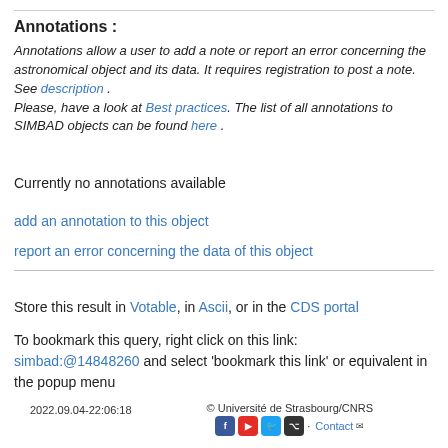Annotations :
Annotations allow a user to add a note or report an error concerning the astronomical object and its data. It requires registration to post a note. See description . Please, have a look at Best practices. The list of all annotations to SIMBAD objects can be found here .
Currently no annotations available
add an annotation to this object
report an error concerning the data of this object
Store this result in Votable, in Ascii, or in the CDS portal
To bookmark this query, right click on this link: simbad:@14848260 and select 'bookmark this link' or equivalent in the popup menu
2022.09.04-22:06:18   © Université de Strasbourg/CNRS   Contact